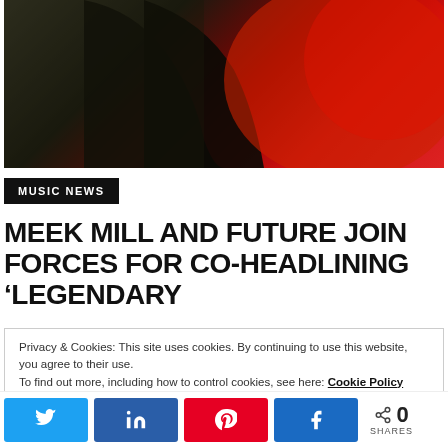[Figure (photo): Dark artistic photo with red lighting showing a silhouetted figure against a dark olive/red gradient background]
MUSIC NEWS
MEEK MILL AND FUTURE JOIN FORCES FOR CO-HEADLINING 'LEGENDARY
Privacy & Cookies: This site uses cookies. By continuing to use this website, you agree to their use. To find out more, including how to control cookies, see here: Cookie Policy